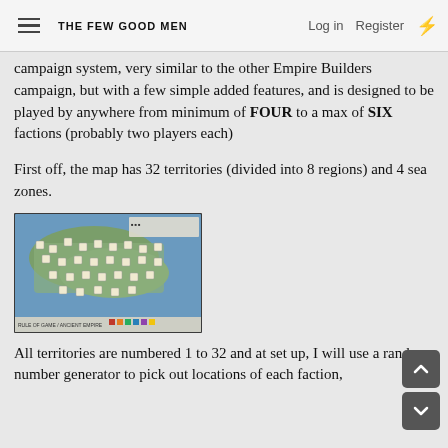THE FEW GOOD MEN | Log in | Register
campaign system, very similar to the other Empire Builders campaign, but with a few simple added features, and is designed to be played by anywhere from minimum of FOUR to a max of SIX factions (probably two players each)
First off, the map has 32 territories (divided into 8 regions) and 4 sea zones.
[Figure (photo): A board game map showing territories and regions with colored areas representing land and sea zones, with numbered squares and faction markers.]
All territories are numbered 1 to 32 and at set up, I will use a random number generator to pick out locations of each faction, CAPITAL positions, or so on...